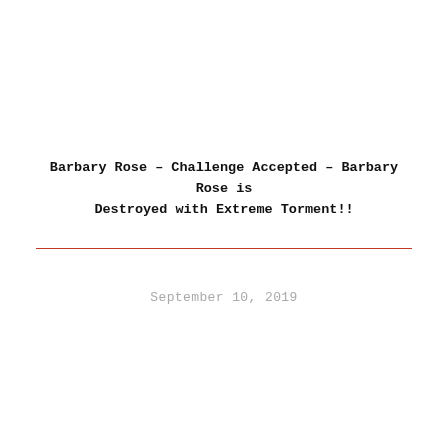Barbary Rose – Challenge Accepted – Barbary Rose is Destroyed with Extreme Torment!!
September 10, 2019